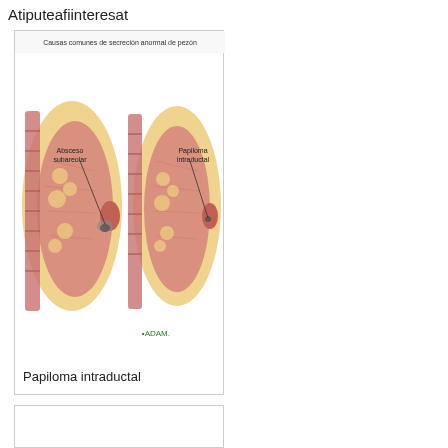Atiputeafiinteresat
[Figure (illustration): Medical illustration showing common causes of abnormal nipple discharge: subareolar abscess (absceso subareolar) and intraductal papilloma (papiloma intraductal). Shows cross-sectional views of breast tissue with labels. ADAM watermark visible.]
Papiloma intraductal
[Figure (illustration): Partial view of a sun illustration with yellow/gold rays, cut off at bottom of page.]